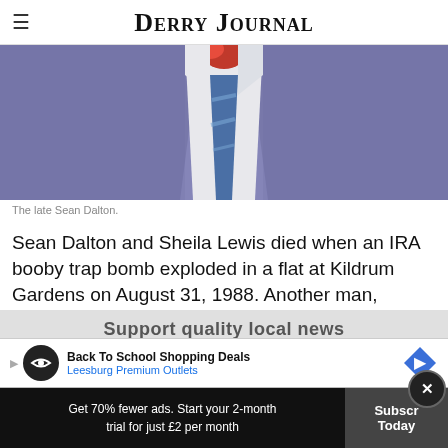Derry Journal
[Figure (photo): Cropped photo of a man wearing a blue/purple jacket, white shirt, and blue striped tie, with a red flower visible at the top.]
The late Sean Dalton.
Sean Dalton and Sheila Lewis died when an IRA booby trap bomb exploded in a flat at Kildrum Gardens on August 31, 1988. Another man, Gerard Curran, later died from his injuries.
[Figure (screenshot): Advertisement: Back To School Shopping Deals, Leesburg Premium Outlets]
Support quality local news...
Get 70% fewer ads. Start your 2-month trial for just £2 per month
Subscribe Today